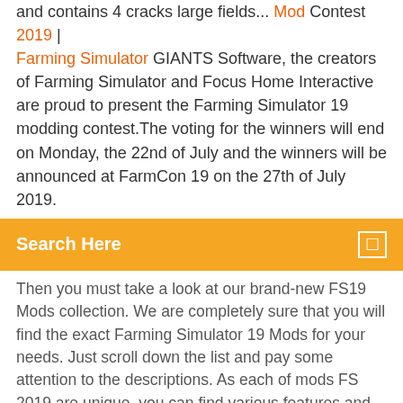and contains 4 cracks large fields... Mod Contest 2019 | Farming Simulator GIANTS Software, the creators of Farming Simulator and Focus Home Interactive are proud to present the Farming Simulator 19 modding contest.The voting for the winners will end on Monday, the 22nd of July and the winners will be announced at FarmCon 19 on the 27th of July 2019.
Search Here
Then you must take a look at our brand-new FS19 Mods collection. We are completely sure that you will find the exact Farming Simulator 19 Mods for your needs. Just scroll down the list and pay some attention to the descriptions. As each of mods FS 2019 are unique, you can find various features and decide, which is the best for you. Improve your ... Farming Simulator Welcome to the official website of Farming Simulator, the #1 farming simulation game by GIANTS Software. Updates; Support ... Have a lot of fun with Farming Simulator. ... FarmCon 19 is the place to meet other players, modders and fans of the